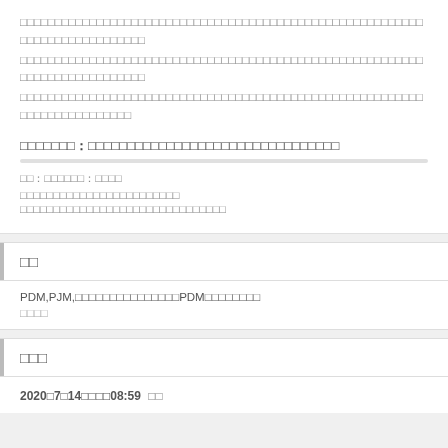□□□□□□□□□□□□□□□□□□□□□□□□□□□□□□□□□□□□□□□□□□□□□□□□□□□□□□□□□□□□□□□□□□□□□□□□□□□□□□□□□□□□□□□□□□□□□□□□□□□□□□□□□□□□□□□□□□□□□□□□□□□□□□□□□□□□
□□□□□□□：□□□□□□□□□□□□□□□□□□□□□□□□□□□□□□□□
□□：□□□□□□：□□□□
□□□□□□□□□□□□□□□□□□□□□□□□
□□□□□□□□□□□□□□□□□□□□□□□□□□□□□□□
□□
PDM,PJM,□□□□□□□□□□□□□□□PDM□□□□□□□□
□□□□
□□□
2020□7□14□□□□08:59 □□